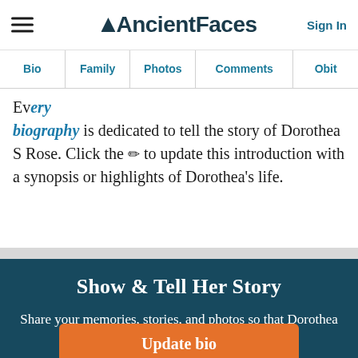AncientFaces — Sign In
Bio | Family | Photos | Comments | Obit
Every biography is dedicated to tell the story of Dorothea S Rose. Click the ✏ to update this introduction with a synopsis or highlights of Dorothea's life.
Show & Tell Her Story
Share your memories, stories, and photos so that Dorothea is always remembered.
Update bio